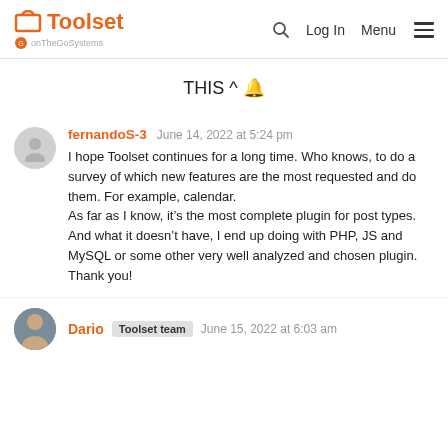Toolset by onTheGoSystems — Log In Menu
THIS ^ 🔔
fernandoS-3   June 14, 2022 at 5:24 pm

I hope Toolset continues for a long time. Who knows, to do a survey of which new features are the most requested and do them. For example, calendar.
As far as I know, it's the most complete plugin for post types. And what it doesn't have, I end up doing with PHP, JS and MySQL or some other very well analyzed and chosen plugin.
Thank you!
Dario   Toolset team   June 15, 2022 at 6:03 am